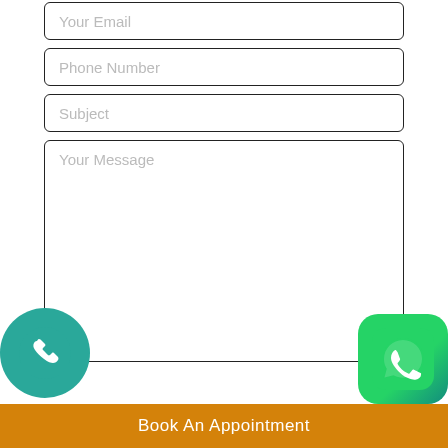Your Email
Phone Number
Subject
Your Message
[Figure (infographic): Teal circular phone call icon button on left side]
[Figure (infographic): Green WhatsApp icon button on right side]
Book An Appointment